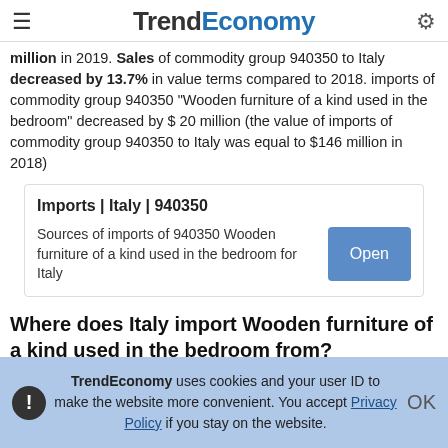TrendEconomy
million in 2019. Sales of commodity group 940350 to Italy decreased by 13.7% in value terms compared to 2018. imports of commodity group 940350 "Wooden furniture of a kind used in the bedroom" decreased by $ 20 million (the value of imports of commodity group 940350 to Italy was equal to $146 million in 2018)
| Imports | Italy | 940350 |
| --- |
| Sources of imports of 940350 Wooden furniture of a kind used in the bedroom for Italy | Open |
Where does Italy import Wooden furniture of a kind used in the bedroom from?
Top trading partners (import of "Wooden furniture of a kind used in the bedroom") of Italy in 2019:
TrendEconomy uses cookies and your user ID to make the website more convenient. You accept Privacy Policy if you stay on the website.